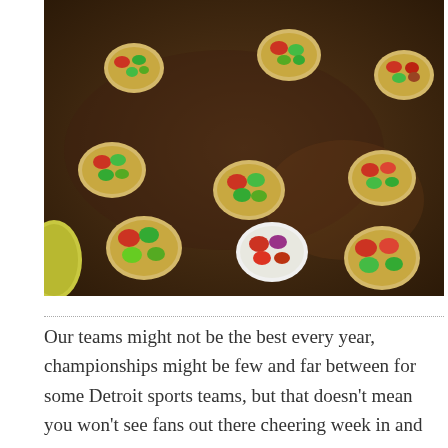[Figure (photo): Overhead photo of multiple small round appetizers/bruschetta bites on a dark baking sheet, topped with diced tomatoes, cucumber, red onion, and fresh green herbs.]
Our teams might not be the best every year, championships might be few and far between for some Detroit sports teams, but that doesn't mean you won't see fans out there cheering week in and week out, representing Detroit sports. Fans take part in many activities and are always looking for new